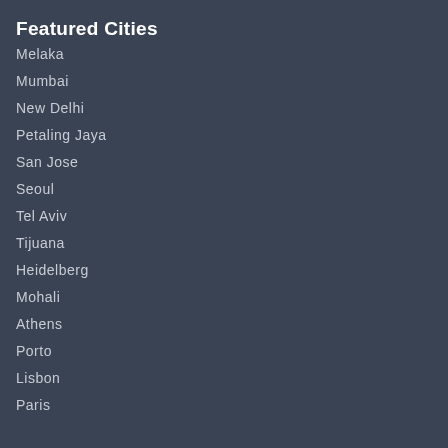Featured Cities
Melaka
Mumbai
New Delhi
Petaling Jaya
San Jose
Seoul
Tel Aviv
Tijuana
Heidelberg
Mohali
Athens
Porto
Lisbon
Paris